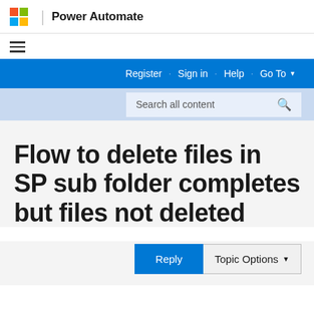Microsoft | Power Automate
[Figure (screenshot): Microsoft logo with four colored squares (red, green, blue, yellow)]
[Figure (infographic): Hamburger menu icon (three horizontal lines)]
[Figure (infographic): Blue navigation bar with Register, Sign in, Help, Go To links]
[Figure (infographic): Search bar with 'Search all content' placeholder and search icon]
Flow to delete files in SP sub folder completes but files not deleted
[Figure (infographic): Reply button (blue) and Topic Options button with dropdown arrow]